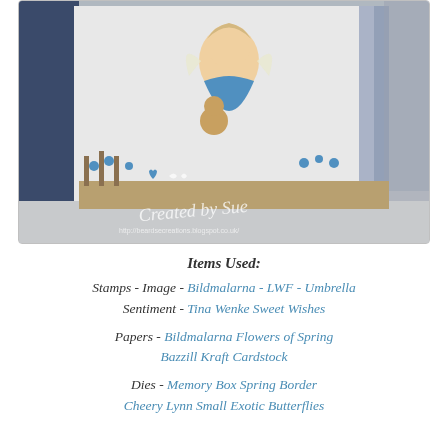[Figure (photo): A handmade craft card scene featuring an illustrated angel girl holding a teddy bear and a sign, surrounded by decorative die-cut floral border and butterfly elements in blue and kraft colors. Watermark reads 'Created by Sue' with blog URL http://beardsecreations.blogspot.co.uk/]
Items Used:
Stamps - Image - Bildmalarna - LWF - Umbrella
Sentiment - Tina Wenke Sweet Wishes

Papers - Bildmalarna Flowers of Spring
Bazzill Kraft Cardstock

Dies - Memory Box Spring Border
Cheery Lynn Small Exotic Butterflies